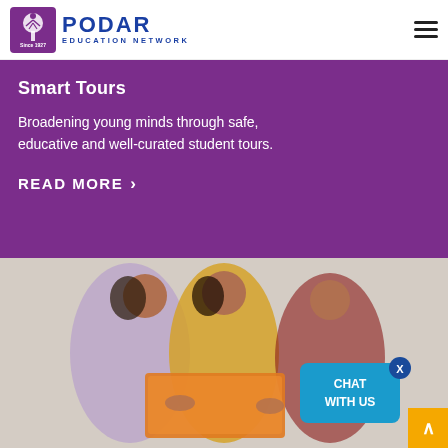Podar Education Network — Since 1927
Smart Tours
Broadening young minds through safe, educative and well-curated student tours.
READ MORE
[Figure (photo): Three women in traditional Indian attire looking at an orange folder/book together]
CHAT WITH US